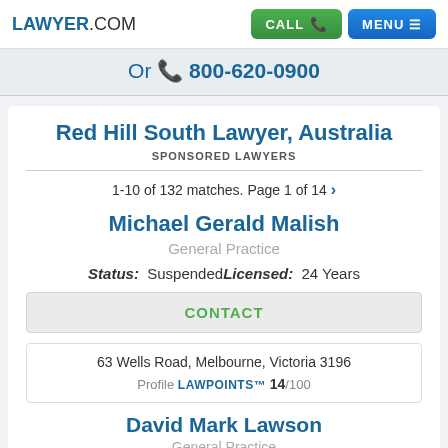LAWYER.COM | CALL | MENU
Or 800-620-0900
Red Hill South Lawyer, Australia
SPONSORED LAWYERS
1-10 of 132 matches. Page 1 of 14
Michael Gerald Malish
General Practice
Status: Suspended Licensed: 24 Years
CONTACT
63 Wells Road, Melbourne, Victoria 3196
Profile LAWPOINTS™ 14/100
David Mark Lawson
General Practice